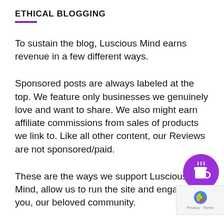ETHICAL BLOGGING
To sustain the blog, Luscious Mind earns revenue in a few different ways.
Sponsored posts are always labeled at the top. We feature only businesses we genuinely love and want to share. We also might earn affiliate commissions from sales of products we link to. Like all other content, our Reviews are not sponsored/paid.
These are the ways we support Luscious Mind, allow us to run the site and engage with you, our beloved community.